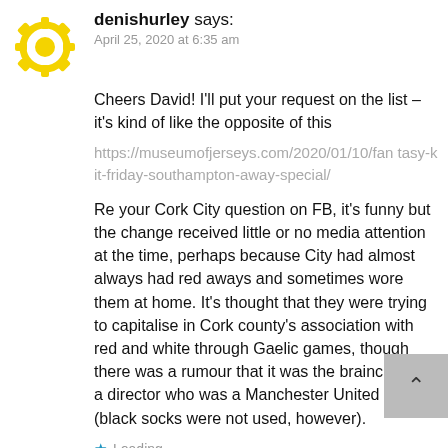denishurley says:
April 25, 2020 at 6:35 am
Cheers David! I'll put your request on the list – it's kind of like the opposite of this
https://museumofjerseys.com/2020/01/10/fantasy-kit-friday-southampton-away-special/
Re your Cork City question on FB, it's funny but the change received little or no media attention at the time, perhaps because City had almost always had red aways and sometimes wore them at home. It's thought that they were trying to capitalise in Cork county's association with red and white through Gaelic games, though there was a rumour that it was the brainchild of a director who was a Manchester United fan (black socks were not used, however).
Loading...